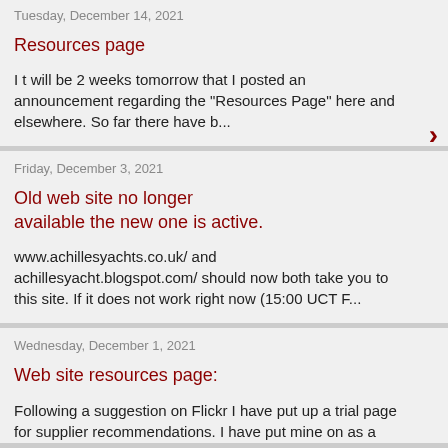Tuesday, December 14, 2021
Resources page
I t will be 2 weeks tomorrow that I posted an announcement regarding the "Resources Page" here and elsewhere. So far there have b...
Friday, December 3, 2021
Old web site no longer available the new one is active.
www.achillesyachts.co.uk/ and achillesyacht.blogspot.com/ should now both take you to this site.  If it does not work right now (15:00 UCT F...
Wednesday, December 1, 2021
Web site resources page:
Following a suggestion on Flickr  I have put up a trial page for supplier recommendations. I have put mine on as a starting point, please re...